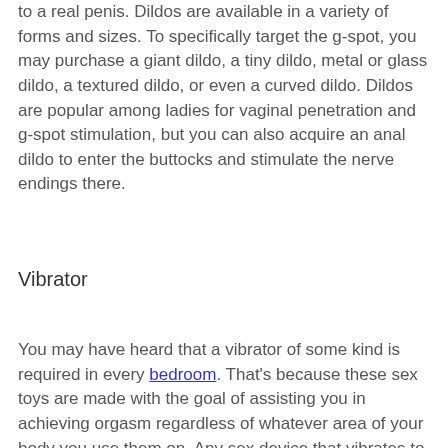to a real penis. Dildos are available in a variety of forms and sizes. To specifically target the g-spot, you may purchase a giant dildo, a tiny dildo, metal or glass dildo, a textured dildo, or even a curved dildo. Dildos are popular among ladies for vaginal penetration and g-spot stimulation, but you can also acquire an anal dildo to enter the buttocks and stimulate the nerve endings there.
Vibrator
You may have heard that a vibrator of some kind is required in every bedroom. That's because these sex toys are made with the goal of assisting you in achieving orgasm regardless of whatever area of your body you use them on. Any sex device that vibrates to